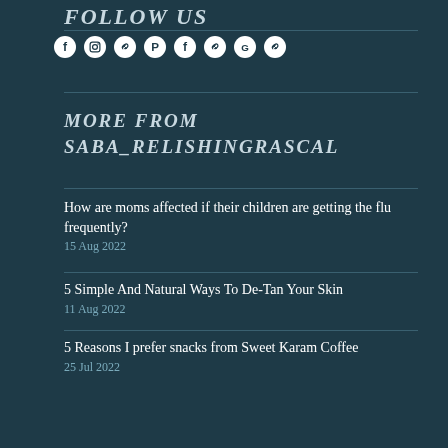FOLLOW US
[Figure (illustration): Row of social media icons: Facebook, Instagram, link/chain, Pinterest, Facebook, link/chain, Google, link/chain — white circles on dark teal background]
MORE FROM
SABA_RELISHINGRASCAL
How are moms affected if their children are getting the flu frequently?
15 Aug 2022
5 Simple And Natural Ways To De-Tan Your Skin
11 Aug 2022
5 Reasons I prefer snacks from Sweet Karam Coffee
25 Jul 2022